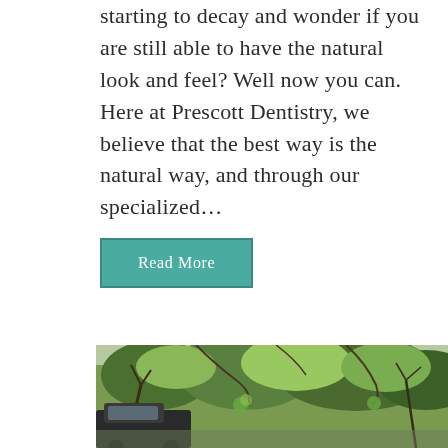starting to decay and wonder if you are still able to have the natural look and feel? Well now you can. Here at Prescott Dentistry, we believe that the best way is the natural way, and through our specialized…
Read More
[Figure (photo): Outdoor scene with trees and a vehicle visible, appearing to show a forested area with leafy trees]